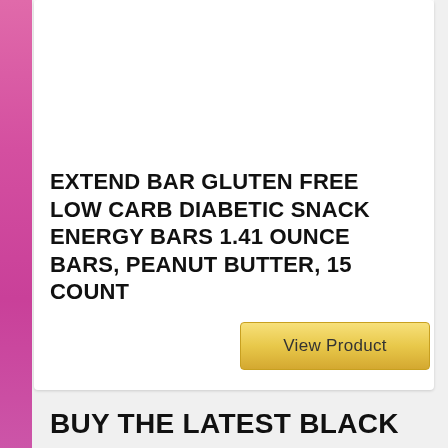[Figure (photo): Product photo of Extend Bar nutrition bars in white and orange packaging, showing multiple bars arranged together]
EXTEND BAR GLUTEN FREE LOW CARB DIABETIC SNACK ENERGY BARS 1.41 OUNCE BARS, PEANUT BUTTER, 15 COUNT
View Product
BUY THE LATEST BLACK